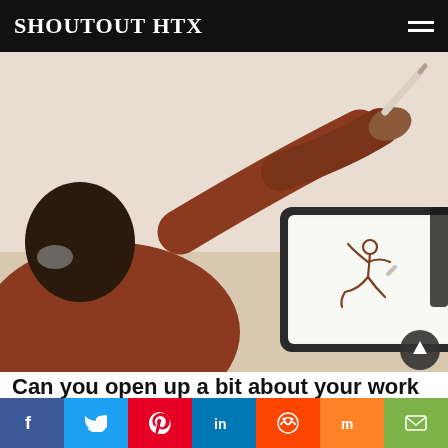SHOUTOUT HTX
[Figure (photo): Person drawing a dancer figure on a tablet using a stylus, wearing a red/rust long-sleeve shirt, viewed from behind/side]
Can you open up a bit about your work and career? We're big fans and we'd love for our community to learn more about you.